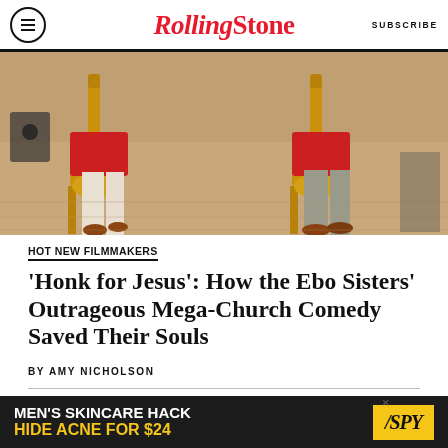Rolling Stone | SUBSCRIBE
[Figure (photo): Two people seated on ornate gold thrones with red cushions, lower bodies visible, hardwood floor background]
HOT NEW FILMMAKERS
'Honk for Jesus': How the Ebo Sisters' Outrageous Mega-Church Comedy Saved Their Souls
BY AMY NICHOLSON
[Figure (photo): Partial view of second article image with colorful background]
[Figure (other): Advertisement banner: MEN'S SKINCARE HACK HIDE ACNE FOR $24 — SPY]